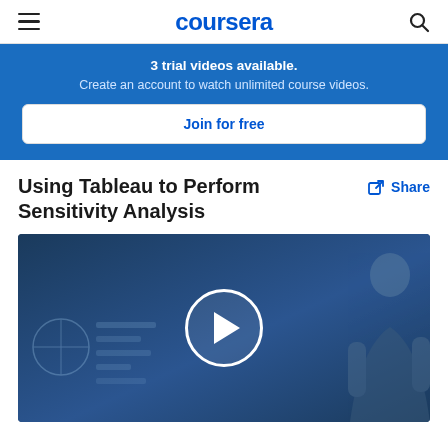coursera
3 trial videos available. Create an account to watch unlimited course videos.
Join for free
Using Tableau to Perform Sensitivity Analysis
Share
[Figure (screenshot): Video thumbnail showing a woman presenter on right side with a Tableau chart/dashboard visible on left, with a play button circle overlay in the center.]